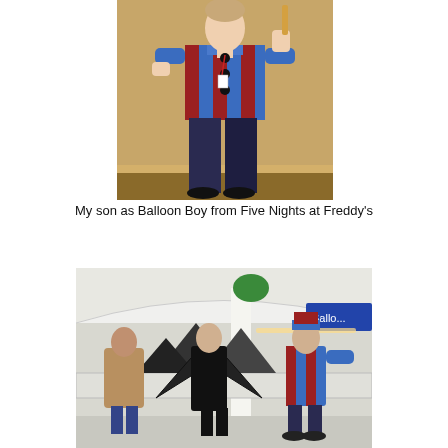[Figure (photo): A young man in a blue and red striped shirt with large black buttons, wearing dark jeans and holding an object, standing in front of a marble wall — cosplaying as Balloon Boy from Five Nights at Freddy's]
My son as Balloon Boy from Five Nights at Freddy's
[Figure (photo): Three people in costumes standing in a hotel or convention center lobby. Left person in a tan coat, center person in all black with wings, right person in blue and red Balloon Boy costume with a hat. A sign partially reading 'Ballo...' is visible in the background.]